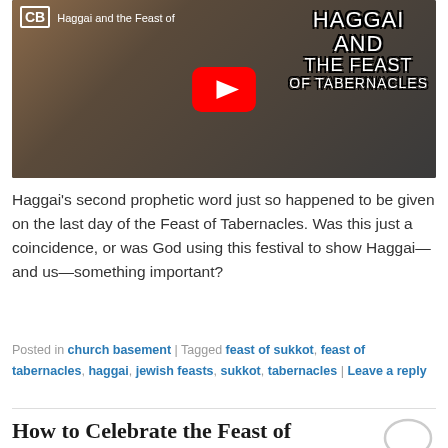[Figure (screenshot): YouTube video thumbnail showing a man in a pink shirt in a cluttered room, with large white bold text reading HAGGAI AND THE FEAST OF TABERNACLES, a YouTube play button in the center, and CB badge and subtitle Haggai and the Feast of in the top left]
Haggai's second prophetic word just so happened to be given on the last day of the Feast of Tabernacles. Was this just a coincidence, or was God using this festival to show Haggai—and us—something important?
Posted in church basement | Tagged feast of sukkot, feast of tabernacles, haggai, jewish feasts, sukkot, tabernacles | Leave a reply
How to Celebrate the Feast of Tabernacles